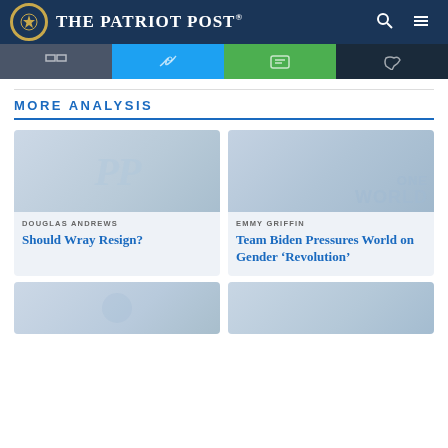The Patriot Post
MORE ANALYSIS
[Figure (photo): Faded background image for article card 1]
DOUGLAS ANDREWS
Should Wray Resign?
[Figure (photo): Faded background image showing ONE WORLD text for article card 2]
EMMY GRIFFIN
Team Biden Pressures World on Gender ‘Revolution’
[Figure (photo): Partial faded background image for article card 3 (bottom left)]
[Figure (photo): Partial faded background image for article card 4 (bottom right)]